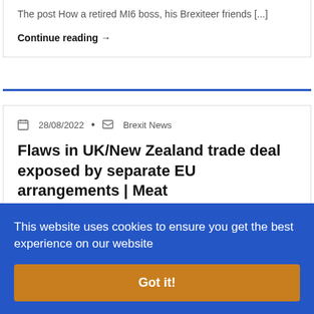The post How a retired MI6 boss, his Brexiteer friends [...]
Continue reading →
28/08/2022 • Brexit News
Flaws in UK/New Zealand trade deal exposed by separate EU arrangements | Meat
This website uses cookies to ensure you get the best experience on our website
Got it!